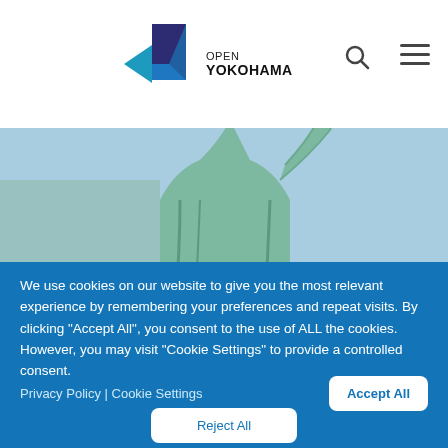[Figure (logo): Open Yokohama logo with geometric diamond shape in blue and navy, text reads OPEN YOKOHAMA]
[Figure (photo): Statue of Liberty close-up photo against blue sky with clouds]
We use cookies on our website to give you the most relevant experience by remembering your preferences and repeat visits. By clicking “Accept All”, you consent to the use of ALL the cookies. However, you may visit "Cookie Settings" to provide a controlled consent.
Privacy Policy | Cookie Settings
Accept All
Reject All